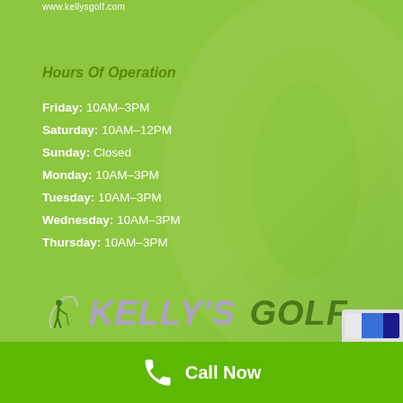www.kellysgolf.com
Hours Of Operation
Friday: 10AM–3PM
Saturday: 10AM–12PM
Sunday: Closed
Monday: 10AM–3PM
Tuesday: 10AM–3PM
Wednesday: 10AM–3PM
Thursday: 10AM–3PM
[Figure (logo): Kelly's Golf logo with golfer silhouette and stylized text]
Call Now